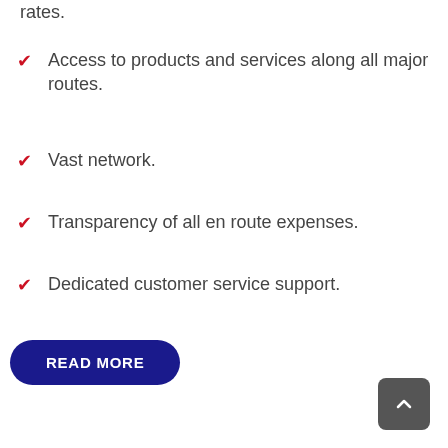rates.
Access to products and services along all major routes.
Vast network.
Transparency of all en route expenses.
Dedicated customer service support.
READ MORE